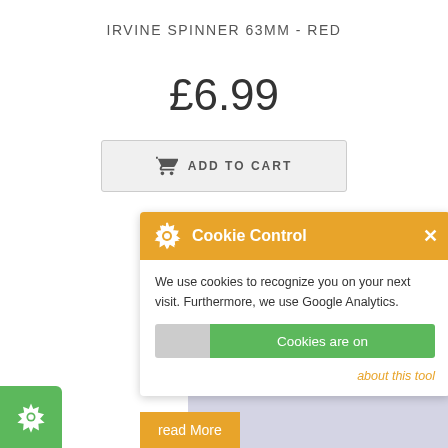IRVINE SPINNER 63MM - RED
£6.99
[Figure (screenshot): Add to Cart button with shopping cart icon]
[Figure (screenshot): Cookie Control popup overlay with orange header showing gear icon and 'Cookie Control' title with X close button. Body text: 'We use cookies to recognize you on your next visit. Furthermore, we use Google Analytics.' Toggle button showing 'Cookies are on' in green. Link 'about this tool' in orange. 'read More' button in orange at bottom. Green gear icon at bottom left corner.]